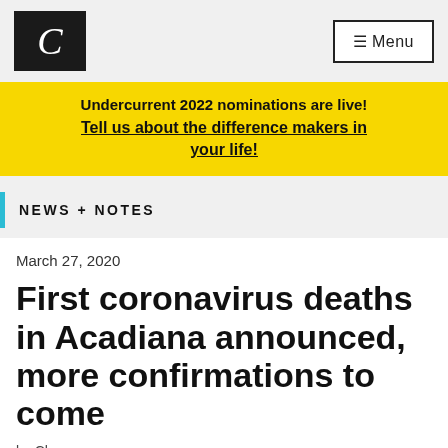C [logo] ☰ Menu
Undercurrent 2022 nominations are live! Tell us about the difference makers in your life!
NEWS + NOTES
March 27, 2020
First coronavirus deaths in Acadiana announced, more confirmations to come